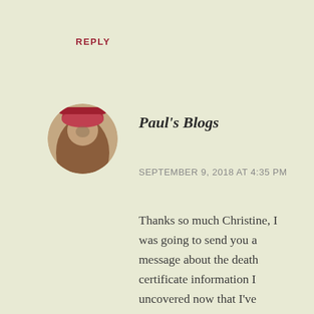REPLY
[Figure (photo): Circular avatar photo of a person wearing a pink/red hat outdoors]
Paul's Blogs
SEPTEMBER 9, 2018 AT 4:35 PM
Thanks so much Christine, I was going to send you a message about the death certificate information I uncovered now that I've published the post . I've asked a few doctor friends who tend to think that suicide is the most likely cause of death and that such things weren't published in newspapers in those days. I'm afraid